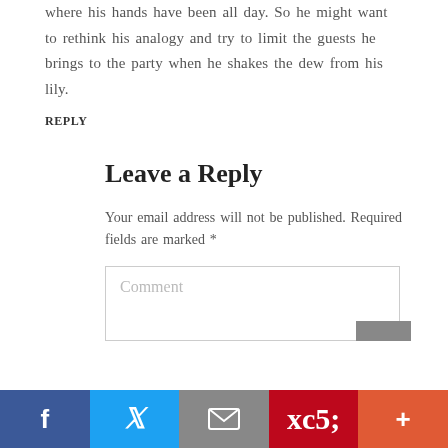where his hands have been all day. So he might want to rethink his analogy and try to limit the guests he brings to the party when he shakes the dew from his lily.
REPLY
Leave a Reply
Your email address will not be published. Required fields are marked *
Comment